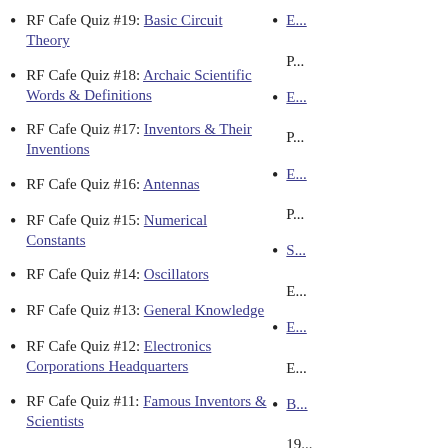RF Cafe Quiz #19: Basic Circuit Theory
RF Cafe Quiz #18: Archaic Scientific Words & Definitions
RF Cafe Quiz #17: Inventors & Their Inventions
RF Cafe Quiz #16: Antennas
RF Cafe Quiz #15: Numerical Constants
RF Cafe Quiz #14: Oscillators
RF Cafe Quiz #13: General Knowledge
RF Cafe Quiz #12: Electronics Corporations Headquarters
RF Cafe Quiz #11: Famous Inventors & Scientists
E... P...
E... P...
E... P...
S... E...
E... E...
B... 19...
E... P...
E... P...